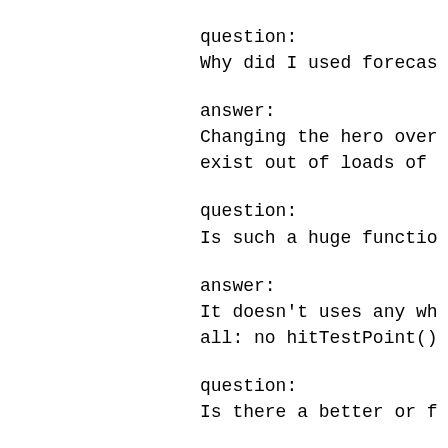question:
Why did I used forecas
answer:
Changing the hero over
exist out of loads of
question:
Is such a huge functio
answer:
It doesn't uses any wh
all: no hitTestPoint()
question:
Is there a better or f
answer:
Probably yes